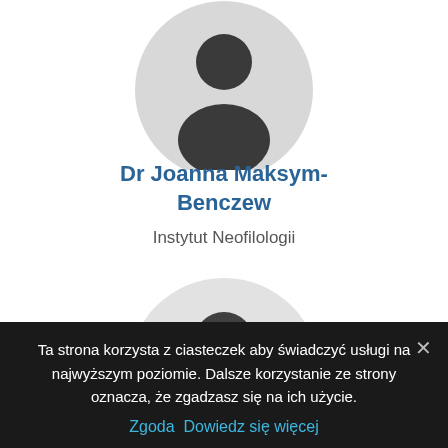[Figure (illustration): Generic person/avatar icon inside a light grey circle, partially cropped at top — profile photo placeholder for Dr Joanna Maksym-Benczew]
Dr Joanna Maksym-Benczew
Instytut Neofilologii
[Figure (illustration): Generic person/avatar icon inside a light grey circle — second profile photo placeholder]
[Figure (illustration): Blue circular accessibility button with white person/wheelchair icon]
Ta strona korzysta z ciasteczek aby świadczyć usługi na najwyższym poziomie. Dalsze korzystanie ze strony oznacza, że zgadzasz się na ich użycie.
Zgoda  Dowiedz się więcej